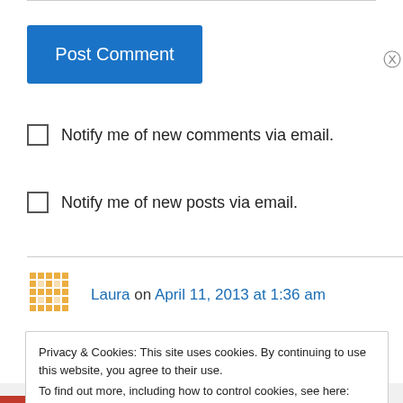Post Comment
Notify me of new comments via email.
Notify me of new posts via email.
Laura on April 11, 2013 at 1:36 am
Sounds like a book I will have to add to my reading list! I love books that you get distracted
Privacy & Cookies: This site uses cookies. By continuing to use this website, you agree to their use.
To find out more, including how to control cookies, see here: Cookie Policy